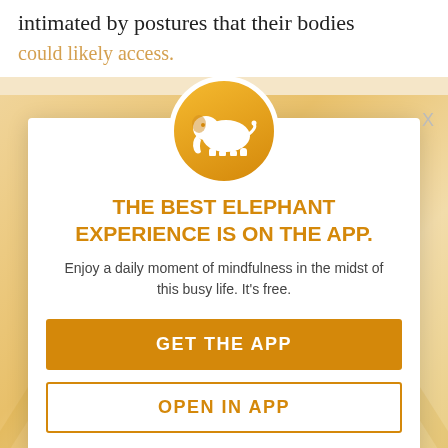intimated by postures that their bodies could likely access.
[Figure (screenshot): App promotion modal with elephant logo icon in orange circle, orange headline text, subtext, and two call-to-action buttons on a cream/tan background with faded text behind]
THE BEST ELEPHANT EXPERIENCE IS ON THE APP.
Enjoy a daily moment of mindfulness in the midst of this busy life. It's free.
GET THE APP
OPEN IN APP